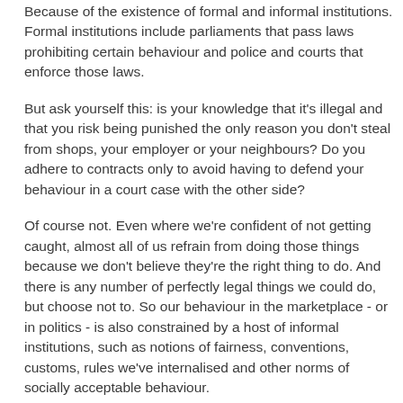Because of the existence of formal and informal institutions. Formal institutions include parliaments that pass laws prohibiting certain behaviour and police and courts that enforce those laws.
But ask yourself this: is your knowledge that it's illegal and that you risk being punished the only reason you don't steal from shops, your employer or your neighbours? Do you adhere to contracts only to avoid having to defend your behaviour in a court case with the other side?
Of course not. Even where we're confident of not getting caught, almost all of us refrain from doing those things because we don't believe they're the right thing to do. And there is any number of perfectly legal things we could do, but choose not to. So our behaviour in the marketplace - or in politics - is also constrained by a host of informal institutions, such as notions of fairness, conventions, customs, rules we've internalised and other norms of socially acceptable behaviour.
"Formal and informal institutions in combination are important in the provision of an institutions, stronger than of